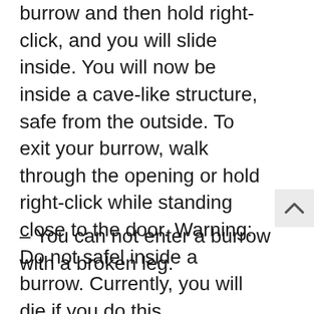burrow and then hold right-click, and you will slide inside. You will now be inside a cave-like structure, safe from the outside. To exit your burrow, walk through the opening or hold right-click while standing close to the door. Warning: Do not safel inside a burrow. Currently, you will die if you do this.
– You can not enter a burrow with a broken leg.